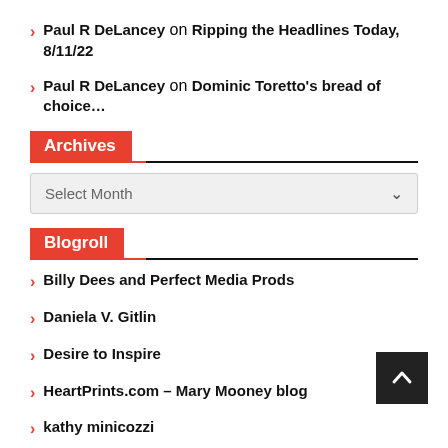Paul R DeLancey on Ripping the Headlines Today, 8/11/22
Paul R DeLancey on Dominic Toretto's bread of choice…
Archives
Select Month
Blogroll
Billy Dees and Perfect Media Prods
Daniela V. Gitlin
Desire to Inspire
HeartPrints.com – Mary Mooney blog
kathy minicozzi